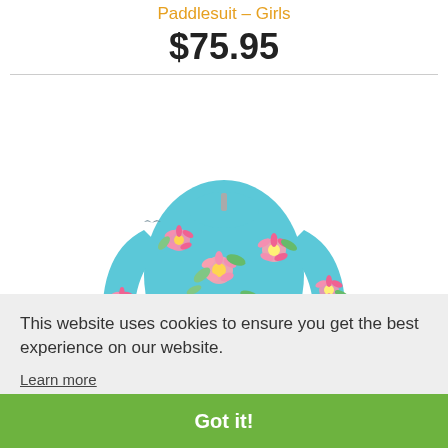Paddlesuit – Girls
$75.95
[Figure (photo): A girls' long-sleeve paddlesuit/rash guard in light blue with pink and yellow floral pattern.]
This website uses cookies to ensure you get the best experience on our website.
Learn more
Got it!